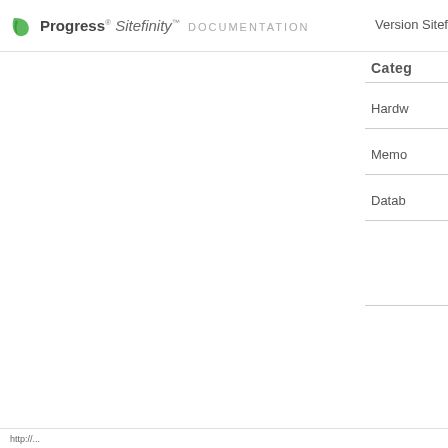Progress Sitefinity DOCUMENTATION — Version Sitefinity
Categ
Hardw
Memo
Datab
http://...